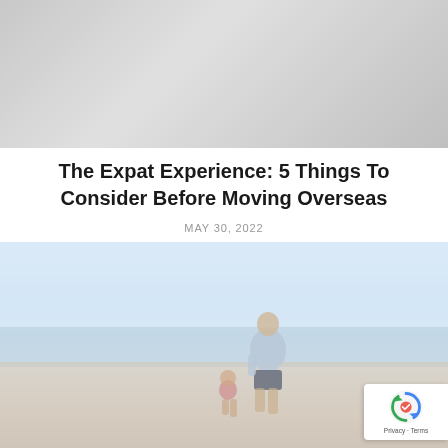[Figure (photo): Partial view of a person, cropped, shown at top of page — appears to be a header image for a blog article]
The Expat Experience: 5 Things To Consider Before Moving Overseas
MAY 30, 2022
[Figure (photo): A father and young child walking hand-in-hand on a beach, viewed from behind, with ocean and sky in the background — light, airy tones]